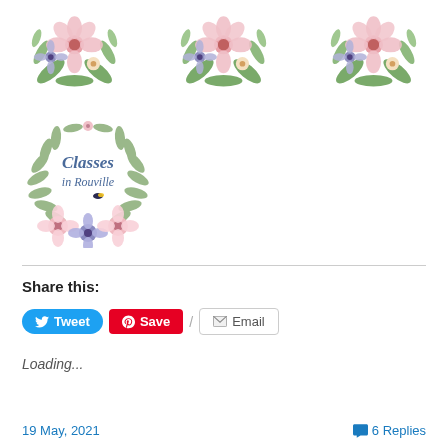[Figure (illustration): Three floral bouquet decorations in a row at top of page, featuring pink and blue flowers with green leaves]
[Figure (logo): Circular logo with text 'Classes in Rouville' surrounded by a floral wreath of pink and blue flowers]
Share this:
Tweet  Save  Email
Loading...
19 May, 2021    6 Replies